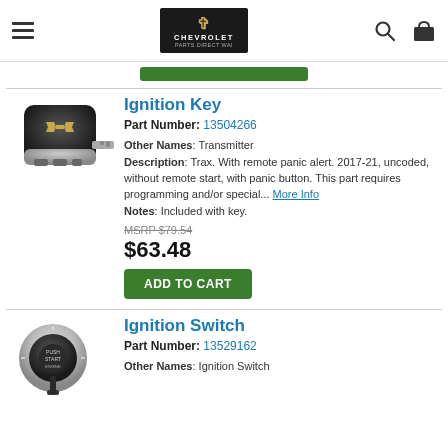[Figure (screenshot): Chevrolet Parts Direct website header with hamburger menu, Chevrolet logo, search icon, and cart icon]
[Figure (photo): Chevrolet ignition key fob, black flip key with gold bowtie logo]
Ignition Key
Part Number: 13504266
Other Names: Transmitter
Description: Trax. With remote panic alert. 2017-21, uncoded, without remote start, with panic button. This part requires programming and/or special... More Info
Notes: Included with key.
MSRP $79.54
$63.48
ADD TO CART
[Figure (photo): Chevrolet ignition switch, circular silver and black push-start button]
Ignition Switch
Part Number: 13529162
Other Names: Ignition Switch